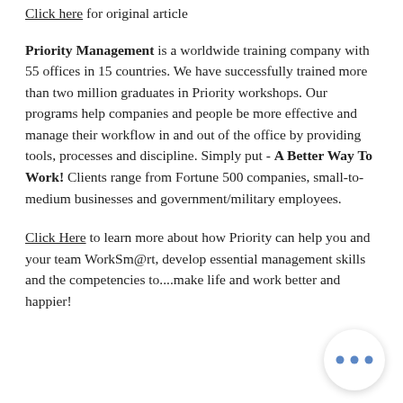Click Here for original article
Priority Management is a worldwide training company with 55 offices in 15 countries. We have successfully trained more than two million graduates in Priority workshops. Our programs help companies and people be more effective and manage their workflow in and out of the office by providing tools, processes and discipline. Simply put - A Better Way To Work! Clients range from Fortune 500 companies, small-to-medium businesses and government/military employees.
Click Here to learn more about how Priority can help you and your team WorkSm@rt, develop essential management skills and the competencies to....make life and work better and happier!